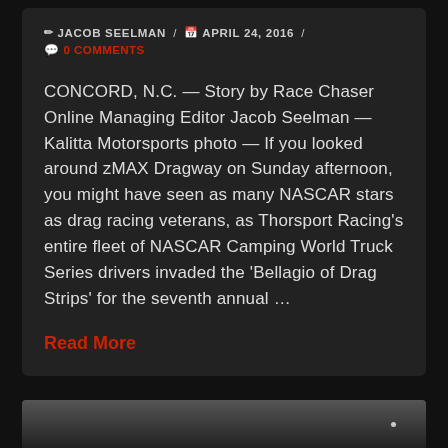JACOB SEELMAN / APRIL 24, 2016 / 0 COMMENTS
CONCORD, N.C. — Story by Race Chaser Online Managing Editor Jacob Seelman — Kalitta Motorsports photo — If you looked around zMAX Dragway on Sunday afternoon, you might have seen as many NASCAR stars as drag racing veterans, as Thorsport Racing's entire fleet of NASCAR Camping World Truck Series drivers invaded the 'Bellagio of Drag Strips' for the seventh annual ...
Read More
[Figure (photo): Dark grayscale image strip at the bottom of the page, partially visible]